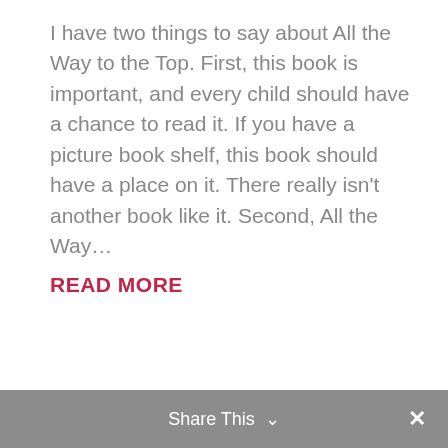I have two things to say about All the Way to the Top. First, this book is important, and every child should have a chance to read it. If you have a picture book shelf, this book should have a place on it. There really isn't another book like it. Second, All the Way... READ MORE
Share This ∨  ✕